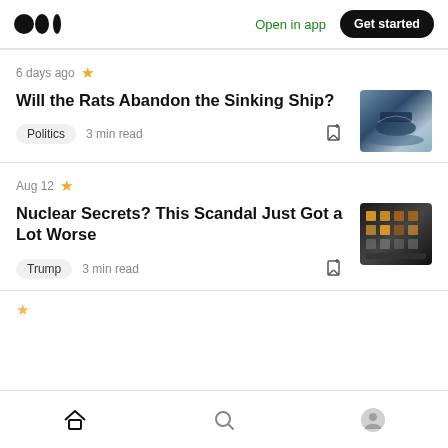Medium logo | Open in app | Get started
6 days ago ★
Will the Rats Abandon the Sinking Ship?
Politics  3 min read
[Figure (photo): Photo of a sinking ship in rough ocean water]
Aug 12 ★
Nuclear Secrets? This Scandal Just Got a Lot Worse
Trump  3 min read
[Figure (photo): Photo of dark industrial panels with lights]
Home | Search | Profile